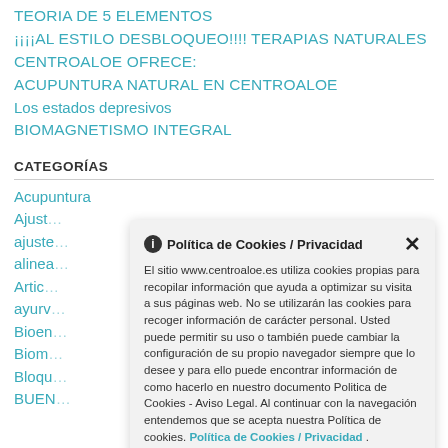TEORIA DE 5 ELEMENTOS
¡¡¡¡AL ESTILO DESBLOQUEO!!!! TERAPIAS NATURALES
CENTROALOE OFRECE:
ACUPUNTURA NATURAL EN CENTROALOE
Los estados depresivos
BIOMAGNETISMO INTEGRAL
CATEGORÍAS
Acupuntura
Ajust…
ajuste…
alinea…
Artic…
ayurv…
Bíoen…
Biom…
Bloqu…
BUEN…
Política de Cookies / Privacidad
El sitio www.centroaloe.es utiliza cookies propias para recopilar información que ayuda a optimizar su visita a sus páginas web. No se utilizarán las cookies para recoger información de carácter personal. Usted puede permitir su uso o también puede cambiar la configuración de su propio navegador siempre que lo desee y para ello puede encontrar información de como hacerlo en nuestro documento Politica de Cookies - Aviso Legal. Al continuar con la navegación entendemos que se acepta nuestra Política de cookies. Política de Cookies / Privacidad .